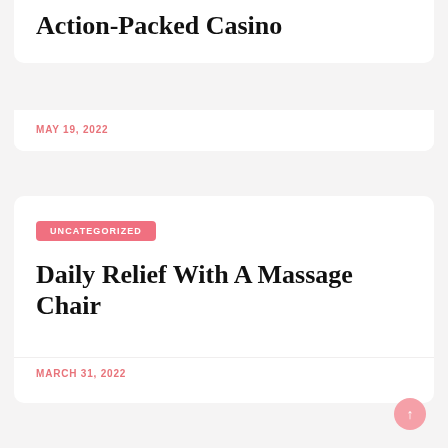Action-Packed Casino
MAY 19, 2022
UNCATEGORIZED
Daily Relief With A Massage Chair
MARCH 31, 2022